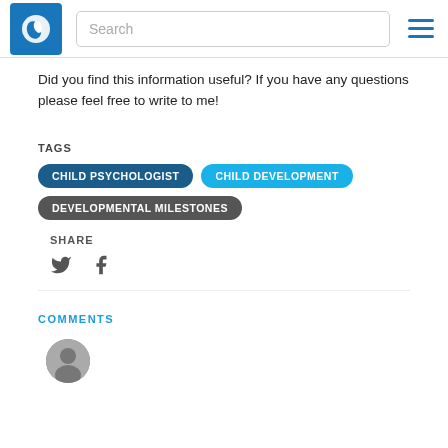Search
Did you find this information useful? If you have any questions please feel free to write to me!
TAGS
CHILD PSYCHOLOGIST
CHILD DEVELOPMENT
DEVELOPMENTAL MILESTONES
SHARE
COMMENTS
[Figure (photo): User avatar photo — small circular profile picture]